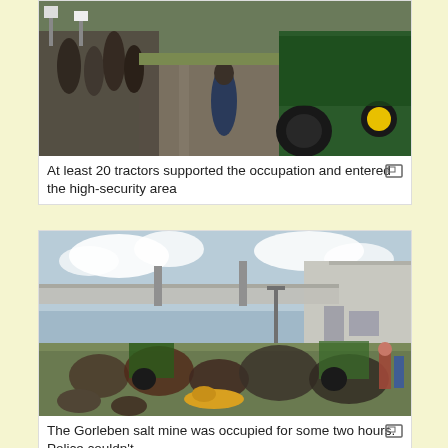[Figure (photo): Crowd of people and large green tractors on a road, protest/occupation scene]
At least 20 tractors supported the occupation and entered the high-security area
[Figure (photo): Protesters and tractors gathered outside an industrial building, people sitting and lying on grass]
The Gorleben salt mine was occupied for some two hours. Police couldn't